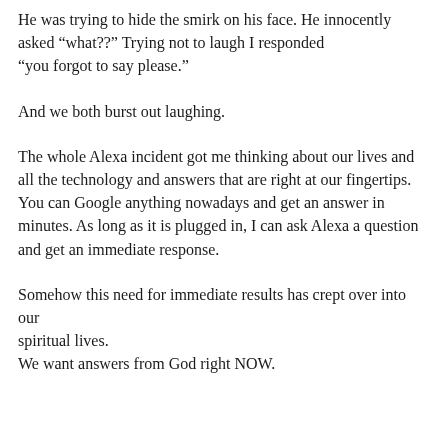He was trying to hide the smirk on his face. He innocently asked "what??" Trying not to laugh I responded "you forgot to say please."
And we both burst out laughing.
The whole Alexa incident got me thinking about our lives and all the technology and answers that are right at our fingertips. You can Google anything nowadays and get an answer in minutes. As long as it is plugged in, I can ask Alexa a question and get an immediate response.
Somehow this need for immediate results has crept over into our spiritual lives. We want answers from God right NOW.